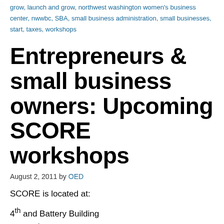grow, launch and grow, northwest washington women's business center, nwwbc, SBA, small business administration, small businesses, start, taxes, workshops
Entrepreneurs & small business owners: Upcoming SCORE workshops
August 2, 2011 by OED
SCORE is located at:
4th and Battery Building
2401 4th Avenue, Suite 450
Seattle, WA 98121
You can also visit their website for more information.